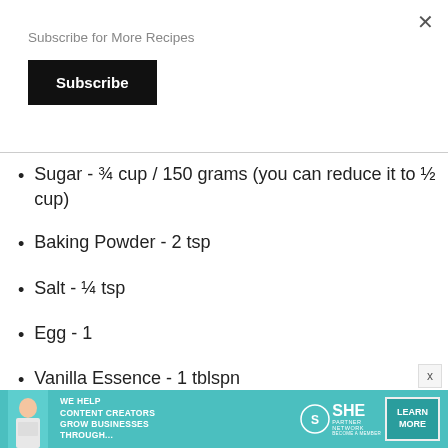Subscribe for More Recipes
Subscribe
Sugar - ¾ cup / 150 grams (you can reduce it to ½ cup)
Baking Powder - 2 tsp
Salt - ¼ tsp
Egg - 1
Vanilla Essence - 1 tblspn
[Figure (infographic): Teal advertisement banner for SHE Partner Network: text says WE HELP CONTENT CREATORS GROW BUSINESSES THROUGH... with a LEARN MORE button and BECOME A MEMBER text. Includes SHE logo and woman with laptop.]